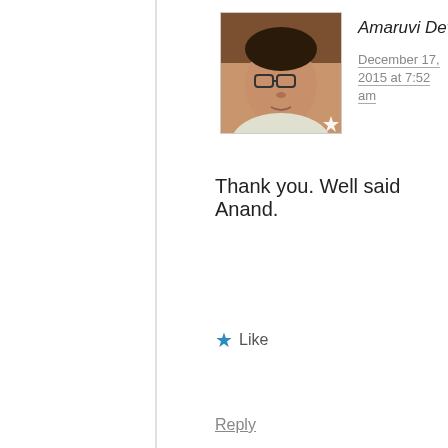[Figure (photo): Avatar photo of Amaruvi Devanathan, a man wearing glasses, with a white star badge in the bottom right corner]
Amaruvi Devanathan says:
December 17, 2015 at 7:52 am
Thank you. Well said Anand.
★ Like
Reply
Leave a Reply
Privacy & Cookies: This site uses cookies. By continuing to use this website, you agree to their use.
To find out more, including how to control cookies, see here: Cookie Policy
Close and accept